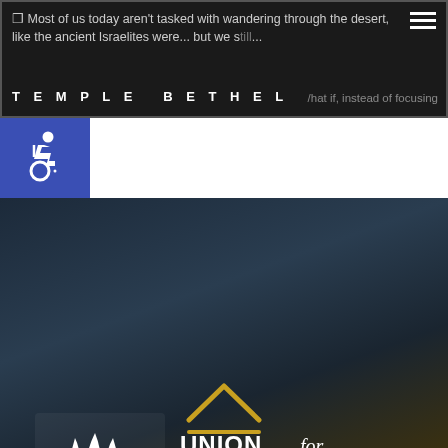Most of us today aren't tasked with wandering through the desert, like the ancient Israelites were... but we still... what if, instead of focusing...
TEMPLE BETHEL
[Figure (illustration): Wheelchair accessibility icon in a blue square]
[Figure (logo): Union for Reform Judaism logo with flame/scroll emblem and text 'UNION for REFORM JUDAISM', 'A Proud Member of the URJ']
Powered by
RJ Web Builder 3.0
[Figure (illustration): Upward-pointing chevron/arrow with horizontal line beneath, gold color, back-to-top button]